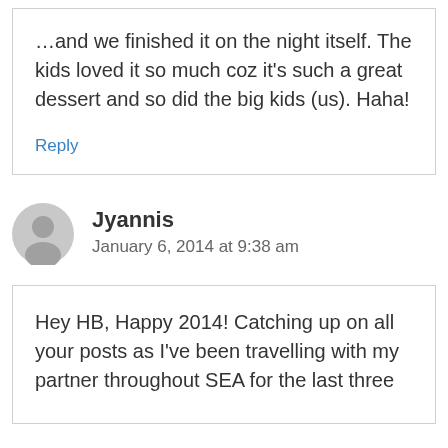…and we finished it on the night itself. The kids loved it so much coz it's such a great dessert and so did the big kids (us). Haha!
Reply
Jyannis
January 6, 2014 at 9:38 am
Hey HB, Happy 2014! Catching up on all your posts as I've been travelling with my partner throughout SEA for the last three